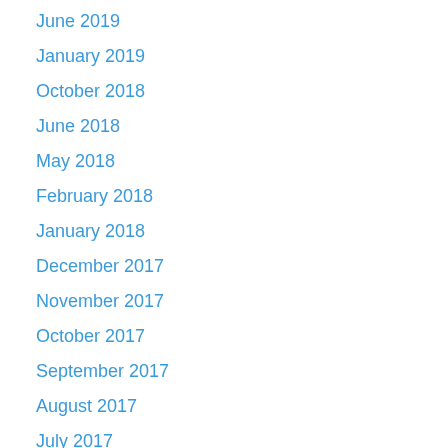June 2019
January 2019
October 2018
June 2018
May 2018
February 2018
January 2018
December 2017
November 2017
October 2017
September 2017
August 2017
July 2017
June 2017
Privacy & Cookies: This site uses cookies. By continuing to use this website, you agree to their use. To find out more, including how to control cookies, see here: Cookie Policy
Close and accept